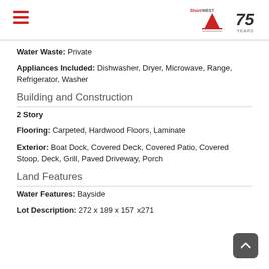ShoreWest 75 Years
Water Waste: Private
Appliances Included: Dishwasher, Dryer, Microwave, Range, Refrigerator, Washer
Building and Construction
2 Story
Flooring: Carpeted, Hardwood Floors, Laminate
Exterior: Boat Dock, Covered Deck, Covered Patio, Covered Stoop, Deck, Grill, Paved Driveway, Porch
Land Features
Water Features: Bayside
Lot Description: 272 x 189 x 157 x271